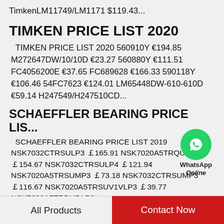TimkenLM11749/LM1171 $119.43...
TIMKEN PRICE LIST 2020
TIMKEN PRICE LIST 2020 560910Y €194.85 M272647DW/10/10D €23.27 560880Y €111.51 FC4056200E €37.65 FC689628 €166.33 590118Y €106.46 54FC7623 €124.01 LM65448DW-610-610D €59.14 H247549/H247510CD...
[Figure (logo): WhatsApp Online logo with green circle and phone icon, labeled WhatsApp Online]
SCHAEFFLER BEARING PRICE LIS...
SCHAEFFLER BEARING PRICE LIST 2019 NSK7032CTRSULP3 ￡165.91 NSK7020A5TRQULP3 ￡154.67 NSK7032CTRSULP4 ￡121.94 NSK7020A5TRSUMP3 ￡73.18 NSK7032CTRSUMP3 ￡116.67 NSK7020A5TRSUV1VLP3 ￡39.77 NSK7032A5TRDUDLP3...
All Products   Contact Now